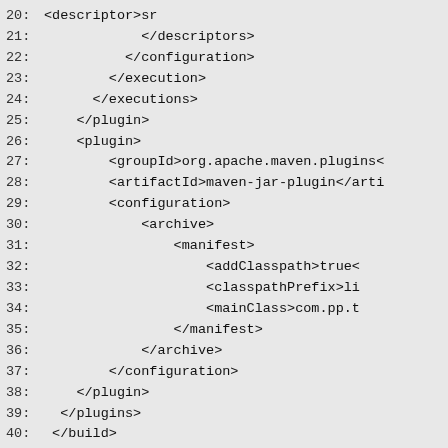20:    <descriptor>sr
21:        </descriptors>
22:      </configuration>
23:    </execution>
24:  </executions>
25:            </plugin>
26:            <plugin>
27:                <groupId>org.apache.maven.plugins<
28:                <artifactId>maven-jar-plugin</arti
29:                <configuration>
30:                    <archive>
31:                        <manifest>
32:                            <addClasspath>true<
33:                            <classpathPrefix>li
34:                            <mainClass>com.pp.t
35:                        </manifest>
36:                    </archive>
37:                </configuration>
38:            </plugin>
39:        </plugins>
40:    </build>